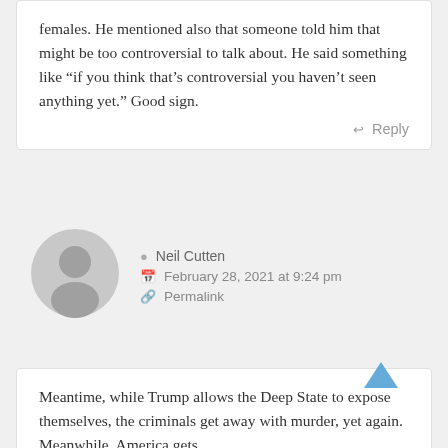females. He mentioned also that someone told him that might be too controversial to talk about. He said something like “if you think that’s controversial you haven’t seen anything yet.” Good sign.
Reply
[Figure (illustration): Generic grey user avatar icon — circle head above rounded torso silhouette on grey background]
Neil Cutten
February 28, 2021 at 9:24 pm
Permalink
Meantime, while Trump allows the Deep State to expose themselves, the criminals get away with murder, yet again. Meanwhile, America gets